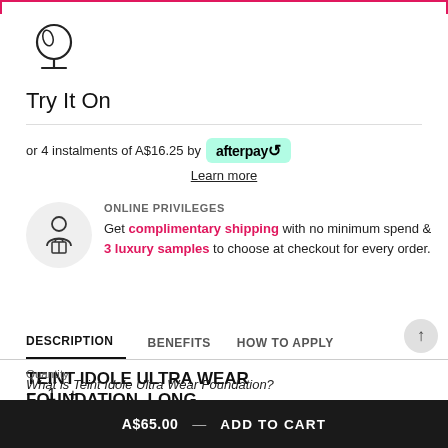[Figure (illustration): Pink bordered search/input box at top of page]
[Figure (illustration): Mirror icon (vanity mirror on stand) in outline style]
Try It On
or 4 instalments of A$16.25 by afterpay
Learn more
ONLINE PRIVILEGES
Get complimentary shipping with no minimum spend & 3 luxury samples to choose at checkout for every order.
DESCRIPTION   BENEFITS   HOW TO APPLY
TEINT IDOLE ULTRA WEAR FOUNDATION. LONG-
Quantity
1
What is Teint Idole Ultra Wear Foundation?
A$65.00 — ADD TO CART